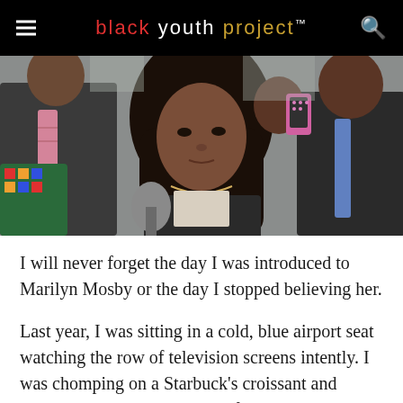black youth project™
[Figure (photo): A woman with long dark wavy hair wearing a dark blazer speaks at a press conference surrounded by people, with microphones in front of her. A man in a suit with a pink tie stands to her left, and another man in a suit stands behind her to the right. A woman holding a pink and black smartphone is visible in the background.]
I will never forget the day I was introduced to Marilyn Mosby or the day I stopped believing her.
Last year, I was sitting in a cold, blue airport seat watching the row of television screens intently. I was chomping on a Starbuck's croissant and getting crumbs all over myself in the process. But, none of that mattered to me because I